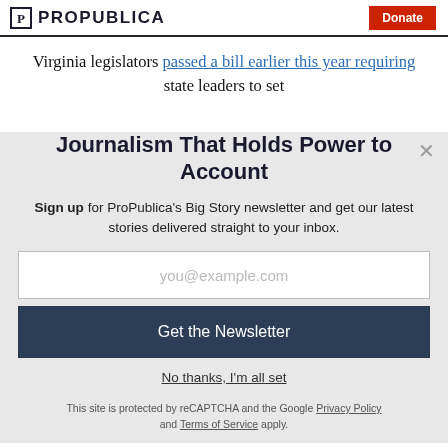ProPublica | Donate
Virginia legislators passed a bill earlier this year requiring state leaders to set
Journalism That Holds Power to Account
Sign up for ProPublica's Big Story newsletter and get our latest stories delivered straight to your inbox.
you@example.com
Get the Newsletter
No thanks, I'm all set
This site is protected by reCAPTCHA and the Google Privacy Policy and Terms of Service apply.